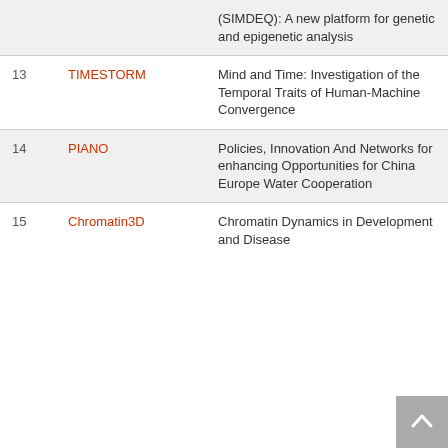| # | Acronym | Title |
| --- | --- | --- |
|  |  | (SIMDEQ): A new platform for genetic and epigenetic analysis |
| 13 | TIMESTORM | Mind and Time: Investigation of the Temporal Traits of Human-Machine Convergence |
| 14 | PIANO | Policies, Innovation And Networks for enhancing Opportunities for China Europe Water Cooperation |
| 15 | Chromatin3D | Chromatin Dynamics in Development and Disease |